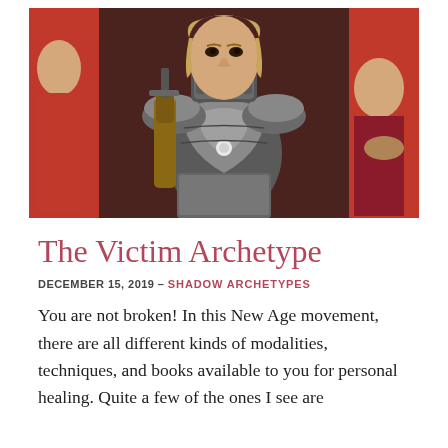[Figure (photo): Woman in medieval knight armor holding a sword, wearing a gorget covering her mouth, with red-clothed soldiers visible in the background]
The Victim Archetype
DECEMBER 15, 2019 – SHADOW ARCHETYPES
You are not broken! In this New Age movement, there are all different kinds of modalities, techniques, and books available to you for personal healing. Quite a few of the ones I see are